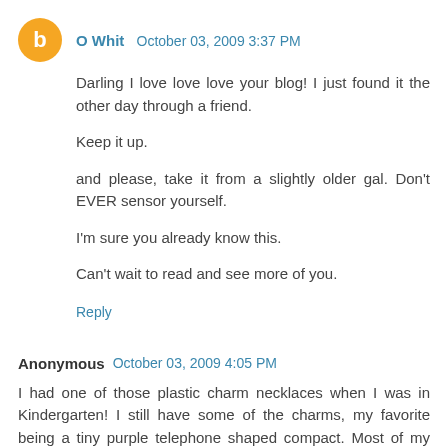O Whit  October 03, 2009 3:37 PM
Darling I love love love your blog! I just found it the other day through a friend.

Keep it up.

and please, take it from a slightly older gal. Don't EVER sensor yourself.

I'm sure you already know this.

Can't wait to read and see more of you.
Reply
Anonymous  October 03, 2009 4:05 PM
I had one of those plastic charm necklaces when I was in Kindergarten! I still have some of the charms, my favorite being a tiny purple telephone shaped compact. Most of my charms are missing as I thought it was a good idea to